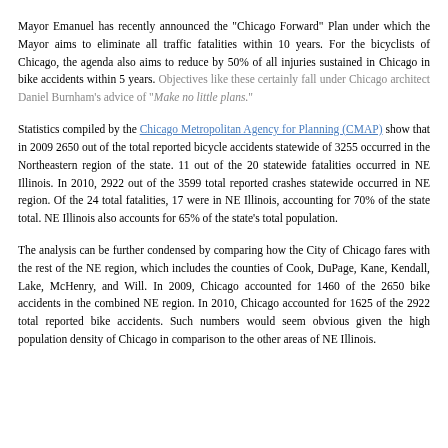Mayor Emanuel has recently announced the "Chicago Forward" Plan under which the Mayor aims to eliminate all traffic fatalities within 10 years. For the bicyclists of Chicago, the agenda also aims to reduce by 50% of all injuries sustained in Chicago in bike accidents within 5 years. Objectives like these certainly fall under Chicago architect Daniel Burnham's advice of "Make no little plans."
Statistics compiled by the Chicago Metropolitan Agency for Planning (CMAP) show that in 2009 2650 out of the total reported bicycle accidents statewide of 3255 occurred in the Northeastern region of the state. 11 out of the 20 statewide fatalities occurred in NE Illinois. In 2010, 2922 out of the 3599 total reported crashes statewide occurred in NE region. Of the 24 total fatalities, 17 were in NE Illinois, accounting for 70% of the state total. NE Illinois also accounts for 65% of the state's total population.
The analysis can be further condensed by comparing how the City of Chicago fares with the rest of the NE region, which includes the counties of Cook, DuPage, Kane, Kendall, Lake, McHenry, and Will. In 2009, Chicago accounted for 1460 of the 2650 bike accidents in the combined NE region. In 2010, Chicago accounted for 1625 of the 2922 total reported bike accidents. Such numbers would seem obvious given the high population density of Chicago in comparison to the other areas of NE Illinois.